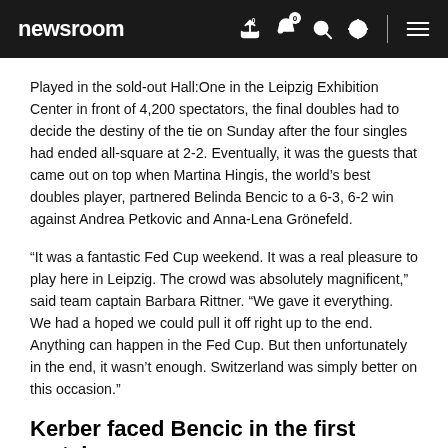newsroom
Played in the sold-out Hall:One in the Leipzig Exhibition Center in front of 4,200 spectators, the final doubles had to decide the destiny of the tie on Sunday after the four singles had ended all-square at 2-2. Eventually, it was the guests that came out on top when Martina Hingis, the world’s best doubles player, partnered Belinda Bencic to a 6-3, 6-2 win against Andrea Petkovic and Anna-Lena Grönefeld.
“It was a fantastic Fed Cup weekend. It was a real pleasure to play here in Leipzig. The crowd was absolutely magnificent,” said team captain Barbara Rittner. “We gave it everything. We had a hoped we could pull it off right up to the end. Anything can happen in the Fed Cup. But then unfortunately in the end, it wasn’t enough. Switzerland was simply better on this occasion.”
Kerber faced Bencic in the first match on